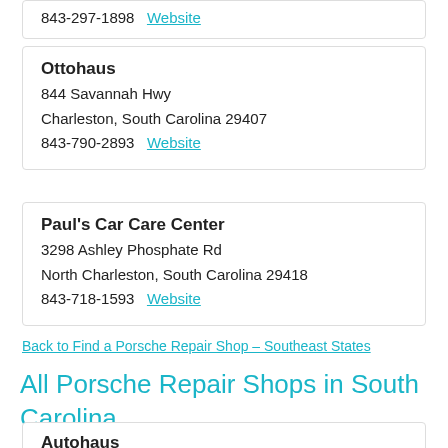843-297-1898   Website
Ottohaus
844 Savannah Hwy
Charleston, South Carolina 29407
843-790-2893   Website
Paul's Car Care Center
3298 Ashley Phosphate Rd
North Charleston, South Carolina 29418
843-718-1593   Website
Back to Find a Porsche Repair Shop – Southeast States
All Porsche Repair Shops in South Carolina
Autohaus